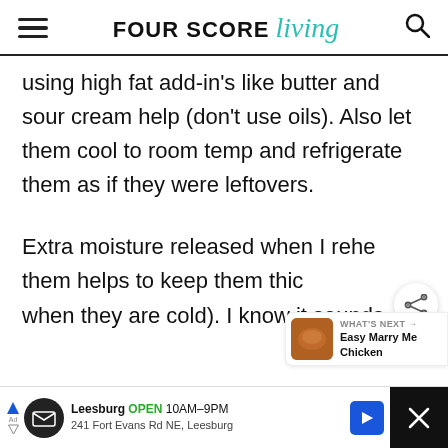FOUR SCORE living
using high fat add-in's like butter and sour cream help (don't use oils). Also let them cool to room temp and refrigerate them as if they were leftovers.
Extra moisture released when I reheat them helps to keep them thick (when they are cold). I know it sounds like
[Figure (other): Share icon overlay button (circular white button with share/network icon)]
[Figure (other): What's Next panel showing 'Easy Marry Me Chicken' with a food thumbnail]
[Figure (other): Advertisement bar: Leesburg OPEN 10AM-9PM, 241 Fort Evans Rd NE, Leesburg]